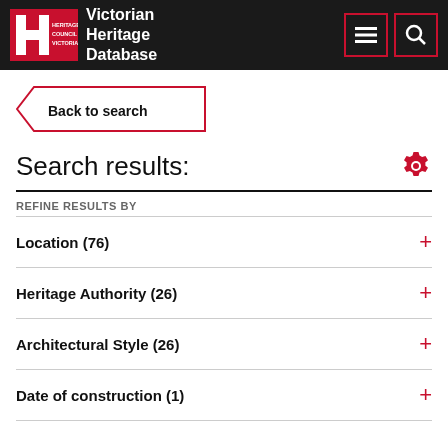Victorian Heritage Database
Back to search
Search results:
REFINE RESULTS BY
Location (76) +
Heritage Authority (26) +
Architectural Style (26) +
Date of construction (1) +